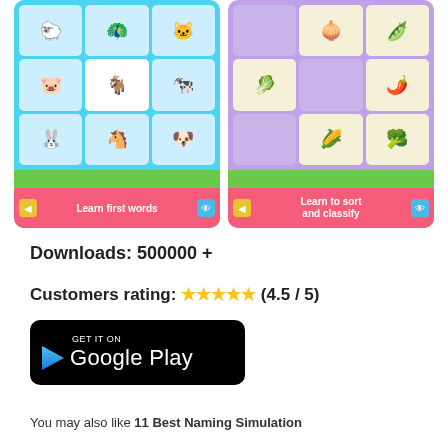[Figure (screenshot): Two mobile app screenshots side by side. Left screenshot shows a children's learning game with animal cards on a blue background and the label 'Learn first words' on a pink bar. Right screenshot shows a sorting/classification game with vegetable cards on a purple background and the label 'Learn to sort and classify' on a pink bar.]
Downloads: 500000 +
Customers rating: ★★★★★ (4.5 / 5)
[Figure (logo): Google Play store download button — black rounded rectangle with 'GET IT ON Google Play' text and Play Store triangle logo]
You may also like 11 Best Naming Simulation